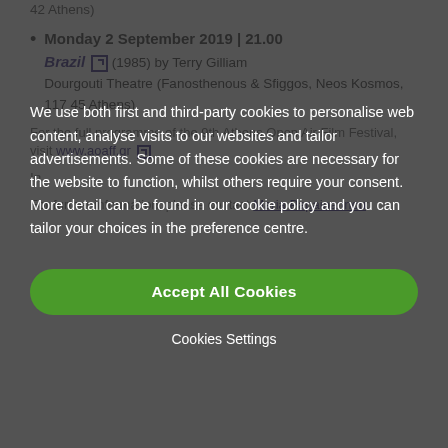42 Athens)
Monday 2 September 2019 | 21.00 Brazil [external link icon] (1985) by Terry Gilliam Dourgouti Theatre (Fanosthenous & Sfiggos, Neos Kosmos, 117 45 Athens)
For the full programme of the 9th Athens Open Air Film Festival, visit www.aoaff.gr [external link icon]
In...
For further information, please contact Maria Papaioannou:
We use both first and third-party cookies to personalise web content, analyse visits to our websites and tailor advertisements. Some of these cookies are necessary for the website to function, whilst others require your consent. More detail can be found in our cookie policy and you can tailor your choices in the preference centre.
Accept All Cookies
|  |  |
| --- | --- |
| Email | Maria.Papaioannou@britishcouncil.gr |
| Telephone | 210 369 2336 |
Cookies Settings